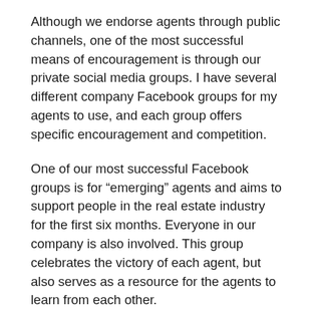Although we endorse agents through public channels, one of the most successful means of encouragement is through our private social media groups. I have several different company Facebook groups for my agents to use, and each group offers specific encouragement and competition.
One of our most successful Facebook groups is for “emerging” agents and aims to support people in the real estate industry for the first six months. Everyone in our company is also involved. This group celebrates the victory of each agent, but also serves as a resource for the agents to learn from each other.
As the real estate industry continues to face a rapidly changing environment, I will ensure that we adapt to the way of celebrating, encouraging and motivating agents. This will make them happier and become members of the Rogers